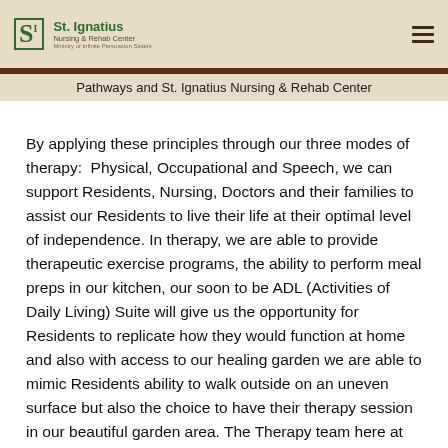St. Ignatius Nursing & Rehab Center — Ministry of Infinite Persuasion Sisters
Pathways and St. Ignatius Nursing & Rehab Center
By applying these principles through our three modes of therapy:  Physical, Occupational and Speech, we can support Residents, Nursing, Doctors and their families to assist our Residents to live their life at their optimal level of independence. In therapy, we are able to provide therapeutic exercise programs, the ability to perform meal preps in our kitchen, our soon to be ADL (Activities of Daily Living) Suite will give us the opportunity for Residents to replicate how they would function at home and also with access to our healing garden we are able to mimic Residents ability to walk outside on an uneven surface but also the choice to have their therapy session in our beautiful garden area. The Therapy team here at St. Ignatius wants you